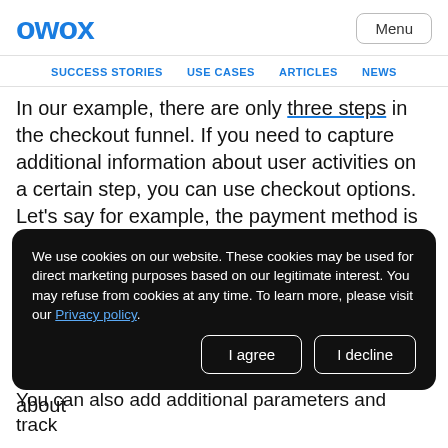OWOX
Menu
SUCCESS STORIES  USE CASES  ARTICLES  NEWS
In our example, there are only three steps in the checkout funnel. If you need to capture additional information about user activities on a certain step, you can use checkout options. Let’s say for example, the payment method is not yet known when a user
option, d will on about
[Figure (screenshot): Cookie consent popup overlay with dark background. Text reads: 'We use cookies on our website. These cookies may be used for direct marketing purposes based on our legitimate interest. You may refuse from cookies at any time. To learn more, please visit our Privacy policy.' Two buttons: 'I agree' and 'I decline'.]
in the
You can also add additional parameters and track